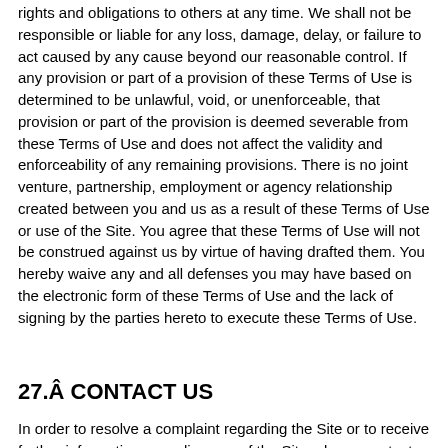rights and obligations to others at any time. We shall not be responsible or liable for any loss, damage, delay, or failure to act caused by any cause beyond our reasonable control. If any provision or part of a provision of these Terms of Use is determined to be unlawful, void, or unenforceable, that provision or part of the provision is deemed severable from these Terms of Use and does not affect the validity and enforceability of any remaining provisions. There is no joint venture, partnership, employment or agency relationship created between you and us as a result of these Terms of Use or use of the Site. You agree that these Terms of Use will not be construed against us by virtue of having drafted them. You hereby waive any and all defenses you may have based on the electronic form of these Terms of Use and the lack of signing by the parties hereto to execute these Terms of Use.
27.Â CONTACT US
In order to resolve a complaint regarding the Site or to receive further information regarding use of the Site, please contact us at:
Greenish Vibes
1835 Imperial Ave
San Diego, CA 92102
United States
Phone:Â 833-644-0384
live@greenishvibes.com